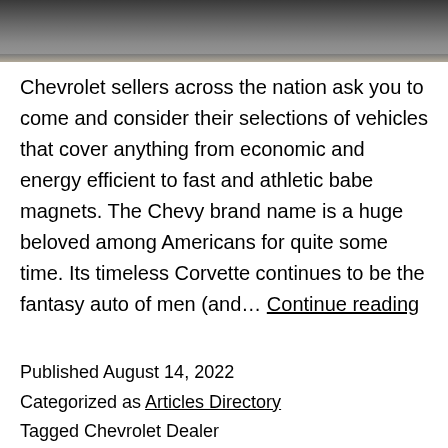[Figure (photo): Top portion of a photo showing cars parked in a lot, cropped — dark tones with a road/pavement surface visible.]
Chevrolet sellers across the nation ask you to come and consider their selections of vehicles that cover anything from economic and energy efficient to fast and athletic babe magnets. The Chevy brand name is a huge beloved among Americans for quite some time. Its timeless Corvette continues to be the fantasy auto of men (and… Continue reading
Published August 14, 2022
Categorized as Articles Directory
Tagged Chevrolet Dealer